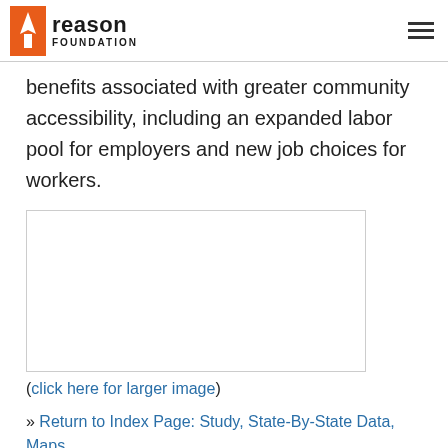Reason Foundation
benefits associated with greater community accessibility, including an expanded labor pool for employers and new job choices for workers.
[Figure (other): Empty image placeholder box with light border]
(click here for larger image)
» Return to Index Page: Study, State-By-State Data, Maps